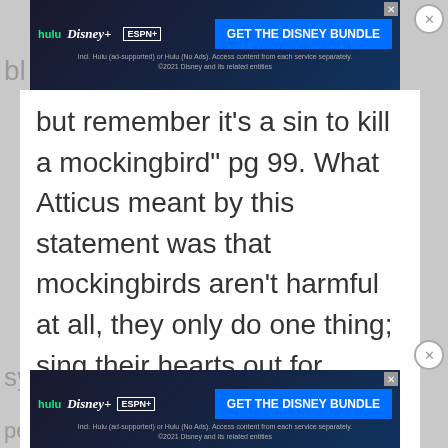[Figure (screenshot): Hulu Disney+ ESPN+ Get the Disney Bundle advertisement banner at top of page]
bl
but remember it's a sin to kill a mockingbird" pg 99. What Atticus meant by this statement was that mockingbirds aren't harmful at all, they only do one thing; sing their hearts out for people to enjoy and that is why it is a sin. In To Kill A Mockingbird by Harper Lee, the mockingbird
symbolizes Boo Radley and Tom Ro
[Figure (screenshot): Hulu Disney+ ESPN+ Get the Disney Bundle advertisement banner at bottom of page]
people who never did any harm. This